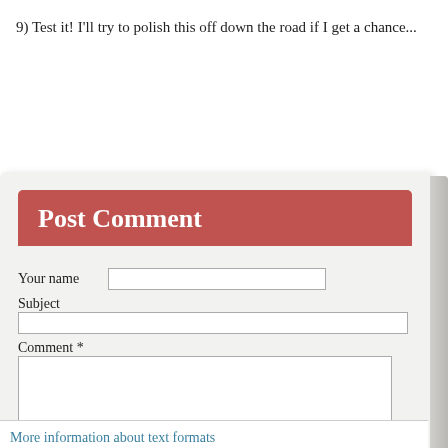9) Test it!
I'll try to polish this off down the road if I get a chance...
[Figure (screenshot): A 'Post Comment' web form with a red/rose banner header labeled 'Post Comment', fields for 'Your name', 'Subject', and 'Comment *' (with a textarea), and a 'More information about text formats' link at the bottom.]